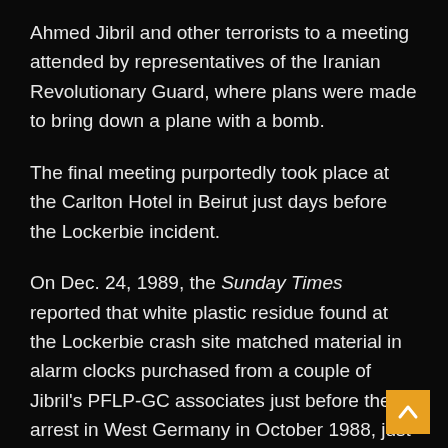Ahmed Jibril and other terrorists to a meeting attended by representatives of the Iranian Revolutionary Guard, where plans were made to bring down a plane with a bomb.
The final meeting purportedly took place at the Carlton Hotel in Beirut just days before the Lockerbie incident.
On Dec. 24, 1989, the Sunday Times reported that white plastic residue found at the Lockerbie crash site matched material in alarm clocks purchased from a couple of Jibril's PFLP-GC associates just before their arrest in West Germany in October 1988, just two months before the Lockerbie bombing.
As Bill Blum's report, recently republished at Consortiumnews.com, noted, the Iranian-PFLP-GC